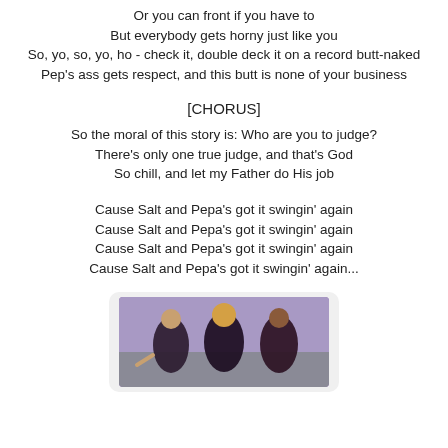Or you can front if you have to
But everybody gets horny just like you
So, yo, so, yo, ho - check it, double deck it on a record butt-naked
Pep's ass gets respect, and this butt is none of your business
[CHORUS]
So the moral of this story is: Who are you to judge?
There's only one true judge, and that's God
So chill, and let my Father do His job
Cause Salt and Pepa's got it swingin' again
Cause Salt and Pepa's got it swingin' again
Cause Salt and Pepa's got it swingin' again
Cause Salt and Pepa's got it swingin' again...
[Figure (photo): Three women posing together against a purple/grey background, wearing dark outfits]